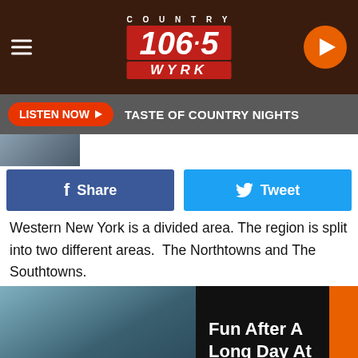[Figure (logo): Country 106.5 WYRK radio station logo with hamburger menu and play button]
LISTEN NOW   TASTE OF COUNTRY NIGHTS
[Figure (photo): Thumbnail photo strip]
[Figure (infographic): Facebook Share button and Twitter Tweet button]
Western New York is a divided area. The region is split into two different areas. The Northtowns and The Southtowns.
[Figure (photo): Promotional card: photo of man with BUFFALOVE shirt and text 'Fun After A Long Day At Work. Listen To Dave Fields']
Most times, people from these areas won't travel to the other part of town. If you grew up in the Southtowns, a trip to the Boulevard Mall or to Niagara Falls seemed like it would take forever to get there.